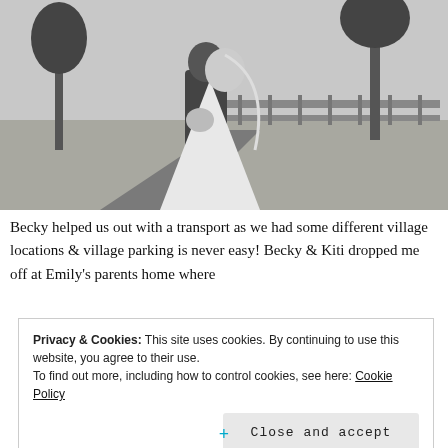[Figure (photo): Black and white wedding photo of a bride and groom standing on a rural road, with trees and a wooden fence in the background. The groom is kissing the bride on the cheek. Fields and open sky visible in the background.]
Becky helped us out with a transport as we had some different village locations & village parking is never easy! Becky & Kiti dropped me off at Emily's parents home where
Privacy & Cookies: This site uses cookies. By continuing to use this website, you agree to their use.
To find out more, including how to control cookies, see here: Cookie Policy
Close and accept